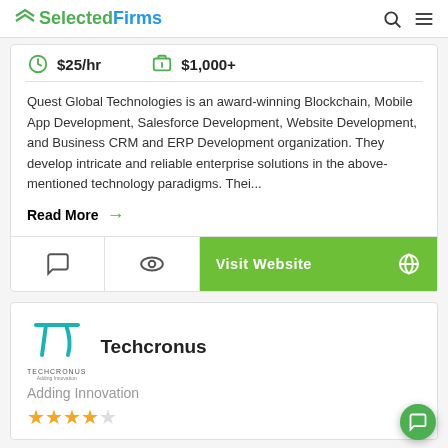SelectedFirms
$25/hr   $1,000+
Quest Global Technologies is an award-winning Blockchain, Mobile App Development, Salesforce Development, Website Development, and Business CRM and ERP Development organization. They develop intricate and reliable enterprise solutions in the above-mentioned technology paradigms. Thei...
Read More →
Visit Website
[Figure (logo): Techcronus logo - pi symbol in teal with TECHCRONUS text beneath]
Techcronus
Adding Innovation